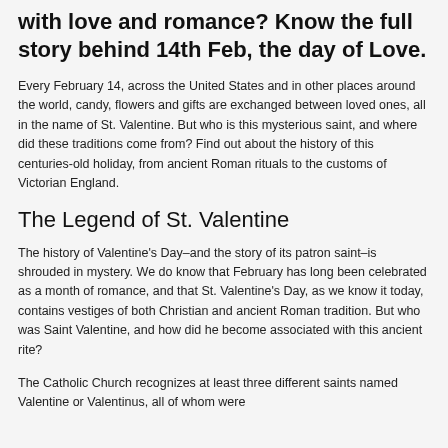with love and romance? Know the full story behind 14th Feb, the day of Love.
Every February 14, across the United States and in other places around the world, candy, flowers and gifts are exchanged between loved ones, all in the name of St. Valentine. But who is this mysterious saint, and where did these traditions come from? Find out about the history of this centuries-old holiday, from ancient Roman rituals to the customs of Victorian England.
The Legend of St. Valentine
The history of Valentine's Day–and the story of its patron saint–is shrouded in mystery. We do know that February has long been celebrated as a month of romance, and that St. Valentine's Day, as we know it today, contains vestiges of both Christian and ancient Roman tradition. But who was Saint Valentine, and how did he become associated with this ancient rite?
The Catholic Church recognizes at least three different saints named Valentine or Valentinus, all of whom were